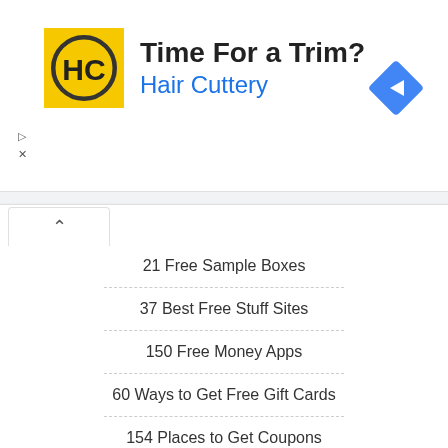[Figure (advertisement): Hair Cuttery ad banner with yellow logo showing HC initials, text 'Time For a Trim?' and 'Hair Cuttery' in blue, plus a blue diamond navigation icon on the right.]
21 Free Sample Boxes
37 Best Free Stuff Sites
150 Free Money Apps
60 Ways to Get Free Gift Cards
154 Places to Get Coupons